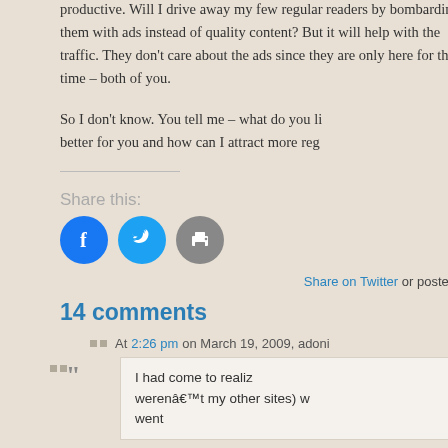productive. Will I drive away my few regular readers by bombarding them with ads instead of quality content? But it will help with the traffic. They don't care about the ads since they are only here for the time – both of you.
So I don't know. You tell me – what do you like and what can be better for you and how can I attract more reg
[Figure (other): Share this section with Facebook, Twitter, and print buttons]
Share on Twitter or posted
14 comments
At 2:26 pm on March 19, 2009, adoni
I had come to realiz werenâ€™t my other sites) w went